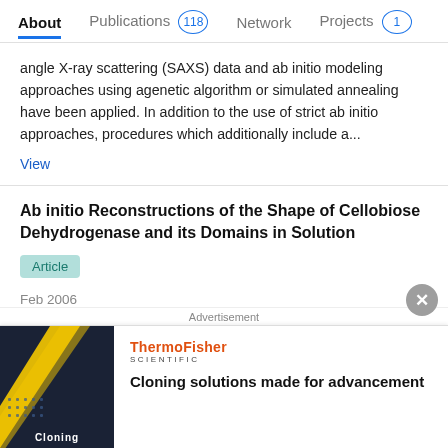About  Publications 118  Network  Projects 1
angle X-ray scattering (SAXS) data and ab initio modeling approaches using agenetic algorithm or simulated annealing have been applied. In addition to the use of strict ab initio approaches, procedures which additionally include a...
View
Ab initio Reconstructions of the Shape of Cellobiose Dehydrogenase and its Domains in Solution
Article
Feb 2006
Peter Zipper · Helmut Durchschlag
Advertisement
[Figure (other): ThermoFisher Scientific advertisement banner with dark image of cloning product and text 'Cloning solutions made for advancement']